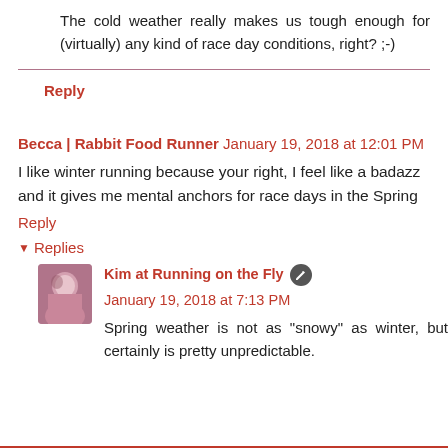The cold weather really makes us tough enough for (virtually) any kind of race day conditions, right? ;-)
Reply
Becca | Rabbit Food Runner  January 19, 2018 at 12:01 PM
I like winter running because your right, I feel like a badazz and it gives me mental anchors for race days in the Spring
Reply
Replies
Kim at Running on the Fly  January 19, 2018 at 7:13 PM
Spring weather is not as "snowy" as winter, but certainly is pretty unpredictable.